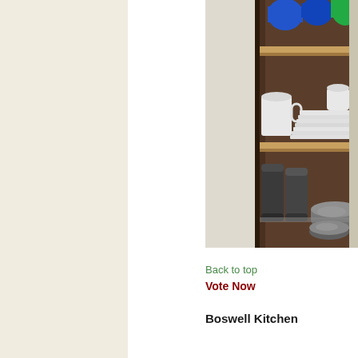[Figure (photo): Open kitchen cabinet with shelves containing colorful bowls (blue and green) on top shelf, white mugs and stacked white plates on middle shelf, and dark metallic tumblers and stainless steel bowls on bottom shelf.]
Back to top
Vote Now
Boswell Kitchen